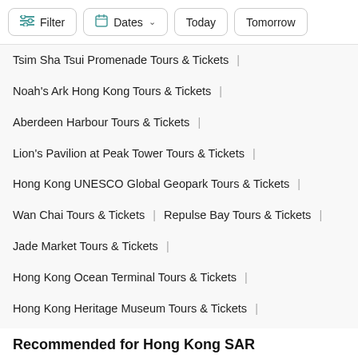Filter | Dates | Today | Tomorrow
Tsim Sha Tsui Promenade Tours & Tickets |
Noah's Ark Hong Kong Tours & Tickets |
Aberdeen Harbour Tours & Tickets |
Lion's Pavilion at Peak Tower Tours & Tickets |
Hong Kong UNESCO Global Geopark Tours & Tickets |
Wan Chai Tours & Tickets | Repulse Bay Tours & Tickets |
Jade Market Tours & Tickets |
Hong Kong Ocean Terminal Tours & Tickets |
Hong Kong Heritage Museum Tours & Tickets |
Flagstaff House Museum of Tea Ware Tours & Tickets |
Kowloon Tours & Tickets | Hoi Ha Wan Marine Park Tours & Tickets |
Lan Kwai Fong (LKF) Tours & Tickets
Recommended for Hong Kong SAR